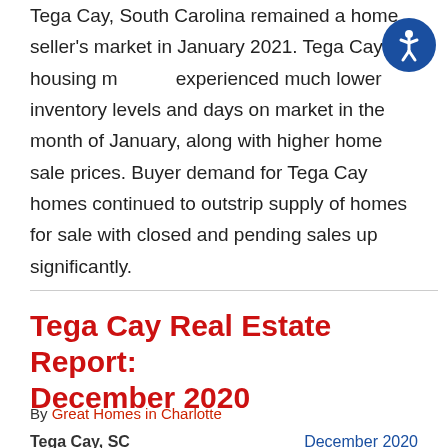Tega Cay, South Carolina remained a home seller's market in January 2021. Tega Cay's housing market experienced much lower inventory levels and days on market in the month of January, along with higher home sale prices. Buyer demand for Tega Cay homes continued to outstrip supply of homes for sale with closed and pending sales up significantly.
Tega Cay Real Estate Report: December 2020
By Great Homes in Charlotte
Tega Cay, SC    December 2020